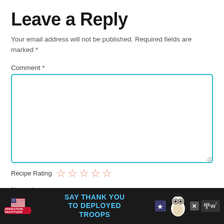Leave a Reply
Your email address will not be published. Required fields are marked *
Comment *
[Figure (other): Comment textarea input box with teal border]
Recipe Rating ☆☆☆☆☆
Name *
[Figure (other): Name input text field with teal border, partially visible]
[Figure (infographic): Advertisement banner: Operation Gratitude - SAY THANK YOU TO DEPLOYED TROOPS, with owl mascot, close button X, and Tidal music icon]